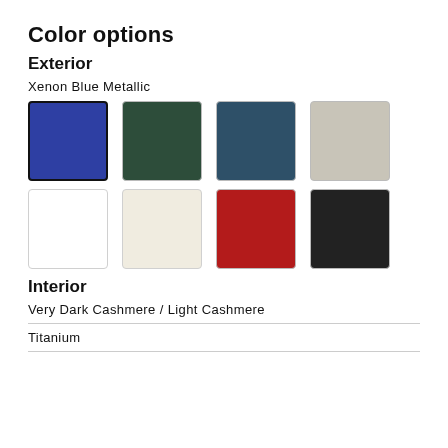Color options
Exterior
Xenon Blue Metallic
[Figure (illustration): Two rows of color swatches for exterior paint options. Row 1: Xenon Blue Metallic (selected, bold border), dark green, dark teal/blue, light gray/beige. Row 2: white, off-white/cream, red, near-black.]
Interior
Very Dark Cashmere / Light Cashmere
Titanium